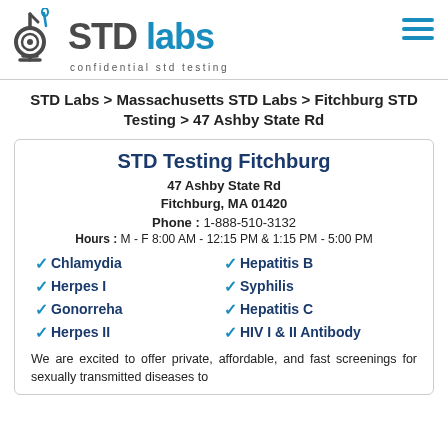STD labs — confidential std testing
STD Labs > Massachusetts STD Labs > Fitchburg STD Testing > 47 Ashby State Rd
STD Testing Fitchburg
47 Ashby State Rd
Fitchburg, MA 01420
Phone: 1-888-510-3132
Hours: M - F 8:00 AM - 12:15 PM & 1:15 PM - 5:00 PM
Chlamydia
Hepatitis B
Herpes I
Syphilis
Gonorreha
Hepatitis C
Herpes II
HIV I & II Antibody
We are excited to offer private, affordable, and fast screenings for sexually transmitted diseases to